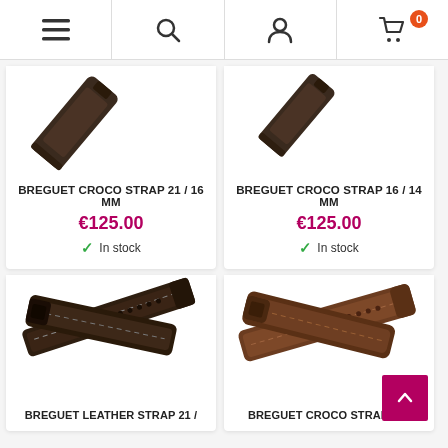Navigation header with menu, search, account, and cart (0 items) icons
[Figure (photo): Dark brown Breguet croco strap watch band, partial top view]
BREGUET CROCO STRAP 21 / 16 MM
€125.00
In stock
[Figure (photo): Dark brown Breguet croco strap watch band, partial top view (right card)]
BREGUET CROCO STRAP 16 / 14 MM
€125.00
In stock
[Figure (photo): Dark brown Breguet leather strap watch band, full strap shown diagonally]
BREGUET LEATHER STRAP 21 /
[Figure (photo): Medium brown Breguet croco strap watch band, full strap shown diagonally]
BREGUET CROCO STRAP 20 /